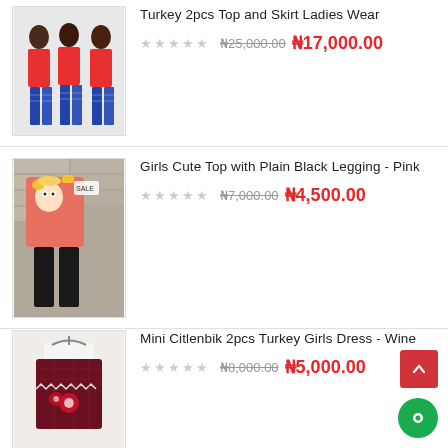[Figure (photo): Three women in red tops and patterned skirts (Turkey 2pcs Top and Skirt Ladies Wear)]
Turkey 2pcs Top and Skirt Ladies Wear
★★★★★ ₦25,000.00 ₦17,000.00
[Figure (photo): Girls pink cute top with plain black legging, displayed against a brick wall]
Girls Cute Top with Plain Black Legging - Pink
★★★★★ ₦7,000.00 ₦4,500.00
[Figure (photo): Mini Citlenbik 2pcs Turkey Girls Dress in wine color with floral embroidery]
Mini Citlenbik 2pcs Turkey Girls Dress - Wine
★★★★★ ₦8,000.00 ₦5,000.00